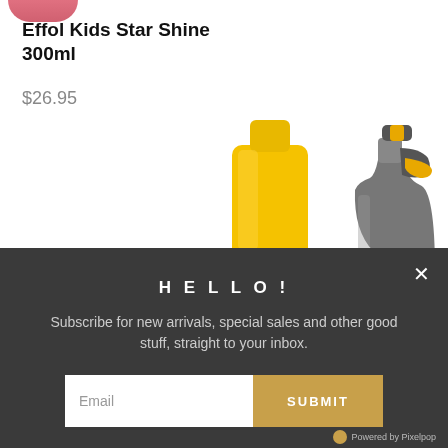[Figure (photo): Partial pink/red product visible at top of page, cropped]
Effol Kids Star Shine 300ml
$26.95
[Figure (photo): Yellow bottle/dispenser product on left; gray and yellow spray bottle on right, both partially visible against white background]
[Figure (screenshot): Dark modal overlay with HELLO! heading, subscription text, email input and SUBMIT button, and Powered by Pixelpop badge]
HELLO!
Subscribe for new arrivals, special sales and other good stuff, straight to your inbox.
Email
SUBMIT
Powered by Pixelpop